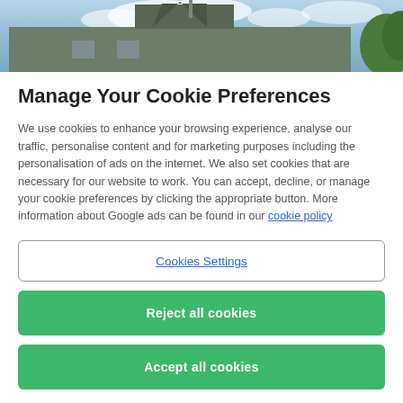[Figure (photo): Partial view of a building with a dark roof against a blue sky with clouds, and green foliage visible at the right edge.]
Manage Your Cookie Preferences
We use cookies to enhance your browsing experience, analyse our traffic, personalise content and for marketing purposes including the personalisation of ads on the internet. We also set cookies that are necessary for our website to work. You can accept, decline, or manage your cookie preferences by clicking the appropriate button. More information about Google ads can be found in our cookie policy
Cookies Settings
Reject all cookies
Accept all cookies